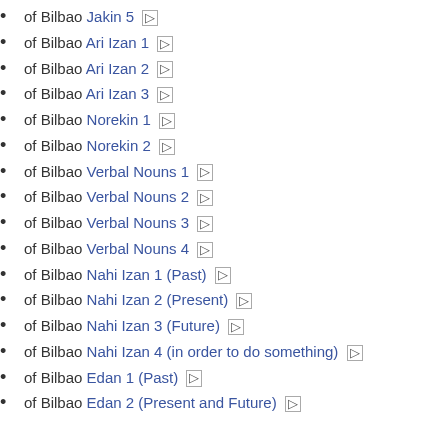of Bilbao Jakin 5 [→]
of Bilbao Ari Izan 1 [→]
of Bilbao Ari Izan 2 [→]
of Bilbao Ari Izan 3 [→]
of Bilbao Norekin 1 [→]
of Bilbao Norekin 2 [→]
of Bilbao Verbal Nouns 1 [→]
of Bilbao Verbal Nouns 2 [→]
of Bilbao Verbal Nouns 3 [→]
of Bilbao Verbal Nouns 4 [→]
of Bilbao Nahi Izan 1 (Past) [→]
of Bilbao Nahi Izan 2 (Present) [→]
of Bilbao Nahi Izan 3 (Future) [→]
of Bilbao Nahi Izan 4 (in order to do something) [→]
of Bilbao Edan 1 (Past) [→]
of Bilbao Edan 2 (Present and Future) [→]